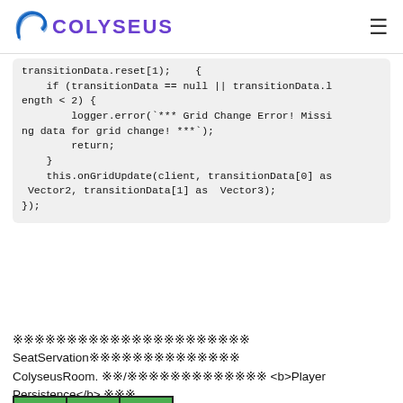COLYSEUS
transitionData.reset[1);   {
    if (transitionData == null || transitionData.length < 2) {
        logger.error(`*** Grid Change Error! Missing data for grid change! ***`);
        return;
    }
    this.onGridUpdate(client, transitionData[0] as Vector2, transitionData[1] as  Vector3);
});
㊙㊙㊙㊙㊙㊙㊙㊙㊙㊙㊙㊙ SeatServation㊙㊙㊙㊙㊙㊙㊙ ColyseusRoom. ㊙㊙/㊙㊙㊙㊙㊙㊙㊙㊙ <b>Player Persistence</b> ㊙㊙㊙.
[Figure (table-as-image): 3x3 grid of green cells labeled with coordinate pairs: -1x1, 0x1, 1x1 (top row), -1x0, 0x0, 1x0 (middle row), -1x-1, 0x-1, 1x-1 (bottom row, partially visible)]